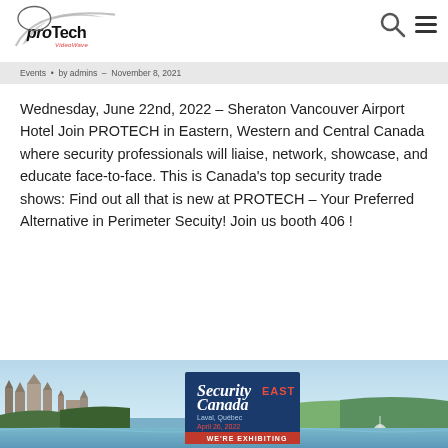[Figure (logo): Protech VideoWave company logo with stylized swoosh design]
Events  •  by admins  •  November 8, 2021
Wednesday, June 22nd, 2022 – Sheraton Vancouver Airport Hotel Join PROTECH in Eastern, Western and Central Canada where security professionals will liaise, network, showcase, and educate face-to-face. This is Canada's top security trade shows: Find out all that is new at PROTECH – Your Preferred Alternative in Perimeter Secuity! Join us booth 406 !
[Figure (photo): Aerial photo of Quebec City with castle and Saint Lawrence River, overlaid with Security Canada EAST exhibiting badge]